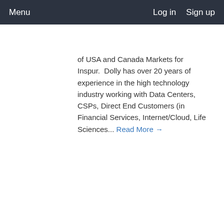Menu    Log in   Sign up
of USA and Canada Markets for Inspur.  Dolly has over 20 years of experience in the high technology industry working with Data Centers, CSPs, Direct End Customers (in Financial Services, Internet/Cloud, Life Sciences... Read More →
Tuesday March 20, 2018 2:50pm - 3:05pm PDT
Hall 1
Expo Hall Session
3:10pm PDT